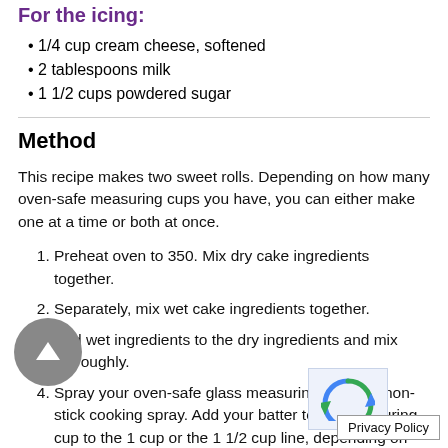For the icing:
1/4 cup cream cheese, softened
2 tablespoons milk
1 1/2 cups powdered sugar
Method
This recipe makes two sweet rolls. Depending on how many oven-safe measuring cups you have, you can either make one at a time or both at once.
Preheat oven to 350. Mix dry cake ingredients together.
Separately, mix wet cake ingredients together.
Add wet ingredients to the dry ingredients and mix thoroughly.
Spray your oven-safe glass measuring cup with non-stick cooking spray. Add your batter to the measuring cup to the 1 cup or the 1 1/2 cup line, depending on how tall you want it.
Privacy Policy